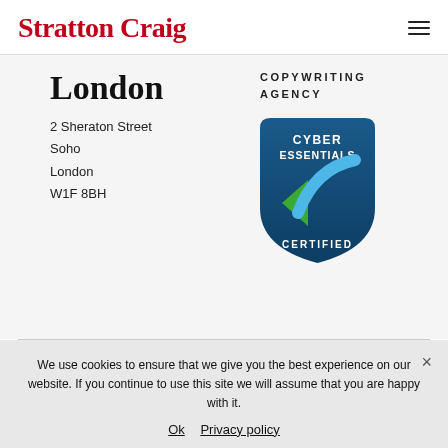Stratton Craig
London
COPYWRITING AGENCY
2 Sheraton Street
Soho
London
W1F 8BH
[Figure (logo): Cyber Essentials Certified badge — blue shield shape with 'CYBER ESSENTIALS' text at top, a green and blue checkmark in the center, and 'CERTIFIED' at the bottom]
We use cookies to ensure that we give you the best experience on our website. If you continue to use this site we will assume that you are happy with it.
Ok   Privacy policy